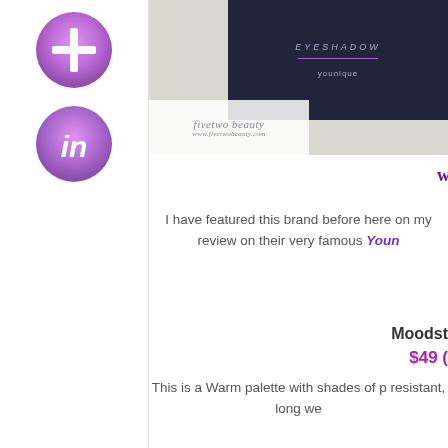[Figure (logo): Purple circular social icon with a plus/cross symbol]
[Figure (logo): Purple circular social icon with 'in' LinkedIn logo]
[Figure (photo): Photo of a dark eyeshadow palette product labeled 'younique' with watermark 'fivetwo beauty www.fivetwobeauty.com']
w
I have featured this brand before here on my review on their very famous Youn
Moodst
$49 (
This is a Warm palette with shades of p resistant, long we